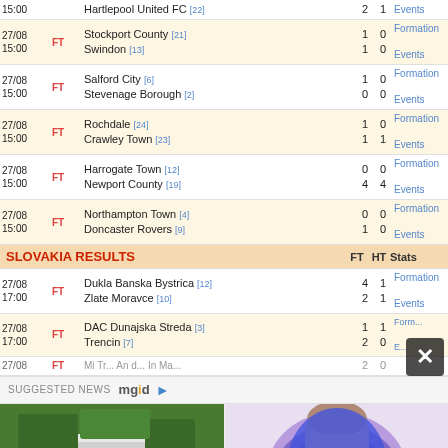| Date | Status | Teams | FT | HT | Links |
| --- | --- | --- | --- | --- | --- |
| 27/08 15:00 | FT | Hartlepool United FC [22] | 2 | 1 | Events |
| 27/08 15:00 | FT | Stockport County [21] / Swindon [13] | 1/1 | 0/0 | Formation / Events |
| 27/08 15:00 | FT | Salford City [6] / Stevenage Borough [2] | 1/0 | 0/0 | Formation / Events |
| 27/08 15:00 | FT | Rochdale [24] / Crawley Town [23] | 1/1 | 0/1 | Formation / Events |
| 27/08 15:00 | FT | Harrogate Town [12] / Newport County [19] | 0/4 | 0/4 | Formation / Events |
| 27/08 15:00 | FT | Northampton Town [4] / Doncaster Rovers [9] | 0/1 | 0/0 | Formation / Events |
SLOVAKIA RESULTS
| Date | Status | Teams | FT | HT | Links |
| --- | --- | --- | --- | --- | --- |
| 27/08 17:00 | FT | Dukla Banska Bystrica [12] / Zlate Moravce [10] | 4/2 | 1/1 | Formation / Events |
| 27/08 17:00 | FT | DAC Dunajska Streda [3] / Trencin [7] | 1/2 | 1/0 | Formation / Events |
SUGGESTED NEWS mgid
[Figure (photo): Aerial view of a large luxury house with pool and green lawn]
These Homes Are Truly Remarkable: Most Expensive Celebrity Houses
[Figure (photo): Woman in blue dress holding large blue flower bouquet]
This Is One Of The Biggest Reasons Guys Get Scared To Commit